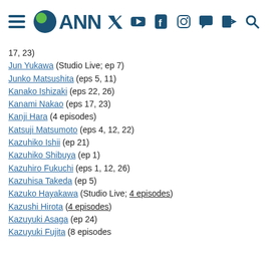ANN (Anime News Network) site header with navigation icons
17, 23)
Jun Yukawa (Studio Live; ep 7)
Junko Matsushita (eps 5, 11)
Kanako Ishizaki (eps 22, 26)
Kanami Nakao (eps 17, 23)
Kanji Hara (4 episodes)
Katsuji Matsumoto (eps 4, 12, 22)
Kazuhiko Ishii (ep 21)
Kazuhiko Shibuya (ep 1)
Kazuhiro Fukuchi (eps 1, 12, 26)
Kazuhisa Takeda (ep 5)
Kazuko Hayakawa (Studio Live; 4 episodes)
Kazushi Hirota (4 episodes)
Kazuyuki Asaga (ep 24)
Kazuyuki Fujita (8 episodes